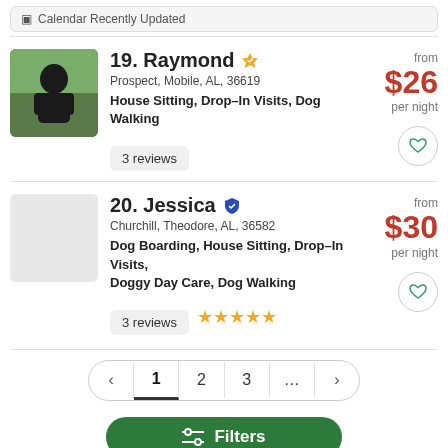Calendar Recently Updated
[Figure (photo): Photo of Raymond, a man in a black shirt outdoors]
19. Raymond — Prospect, Mobile, AL, 36619 — House Sitting, Drop-In Visits, Dog Walking — from $26 per night — 3 reviews
[Figure (photo): Placeholder image for Jessica]
20. Jessica — Churchill, Theodore, AL, 36582 — Dog Boarding, House Sitting, Drop-In Visits, Doggy Day Care, Dog Walking — from $30 per night — 3 reviews — 5 stars
Pagination: < 1 2 3 ... >
Filters button
Rover > Alabama > Mobile > Cypress Branch >